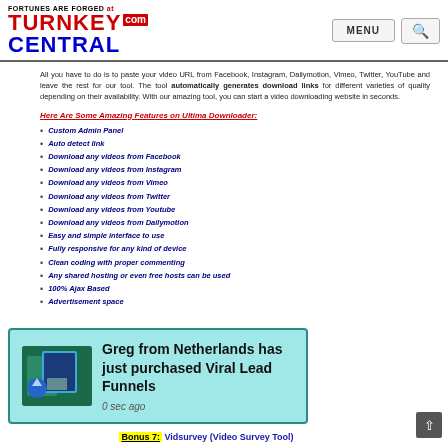FORTUNES ARE FORGED at TURNKEY CENTRAL .com — MENU | Search
All you have to do is to paste your video URL from Facebook, Instagram, Dailymotion, Vimeo, Twitter, YouTube and leave the rest for our tool. The tool automatically generates download links for different varieties of quality depending on their availability. With our amazing tool, you can start a video downloading website in seconds.
Here Are Some Amazing Features on Ultima Downloader:
Custom Admin Panel
Auto detect link
Download any videos from Facebook
Download any videos from Instagram
Download any videos from Vimeo
Download any videos from Twitter
Download any videos from Youtube
Download any videos from Dailymotion
Easy and simple interface to use
Fully responsive for any kind of device
Clean coding with proper commenting
Any shared hosting or even free hosts can be used
100% Ajax Based
Advertisement space
[Figure (screenshot): Notification popup: Greg from Netherlands has just purchased Viral Lead Funnels, 0 sec ago]
Bonus 7: Vidsurvey (Video Survey Tool)